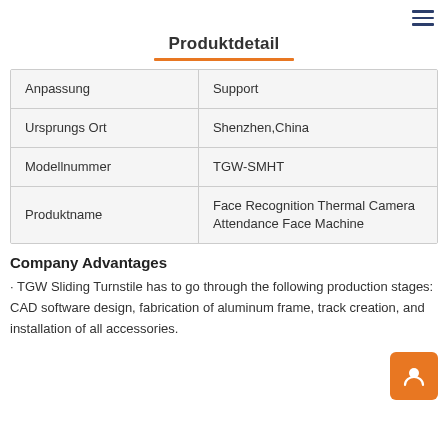≡
Produktdetail
|  |  |
| --- | --- |
| Anpassung | Support |
| Ursprungs Ort | Shenzhen,China |
| Modellnummer | TGW-SMHT |
| Produktname | Face Recognition Thermal Camera Attendance Face Machine |
Company Advantages
· TGW Sliding Turnstile has to go through the following production stages: CAD software design, fabrication of aluminum frame, track creation, and installation of all accessories.